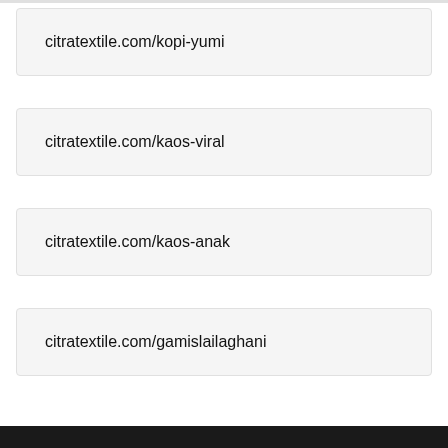citratextile.com/kopi-yumi
citratextile.com/kaos-viral
citratextile.com/kaos-anak
citratextile.com/gamislailaghani